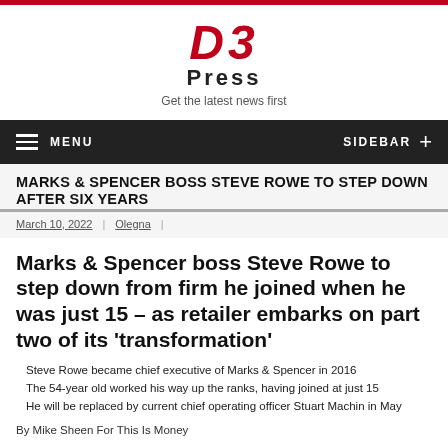D3 Press — Get the latest news first
MENU | SIDEBAR
MARKS & SPENCER BOSS STEVE ROWE TO STEP DOWN AFTER SIX YEARS
March 10, 2022 | Olegna |
Marks & Spencer boss Steve Rowe to step down from firm he joined when he was just 15 – as retailer embarks on part two of its 'transformation'
Steve Rowe became chief executive of Marks & Spencer in 2016
The 54-year old worked his way up the ranks, having joined at just 15
He will be replaced by current chief operating officer Stuart Machin in May
By Mike Sheen For This Is Money